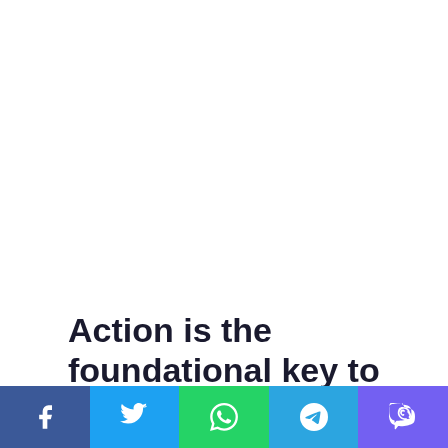Action is the foundational key to all success
In life there will be road blocks but we will over come it. Another one. Learning is cool, but knowing is better, and I know the key to success. The key to more success is to